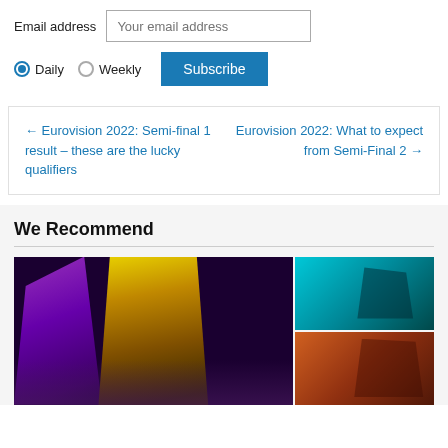Email address
Daily  Weekly
← Eurovision 2022: Semi-final 1 result – these are the lucky qualifiers
Eurovision 2022: What to expect from Semi-Final 2 →
We Recommend
[Figure (photo): Concert performance photos collage: left large panel shows performers on stage with purple and orange lighting, right side has two panels showing performers with teal and orange/red stage lighting]